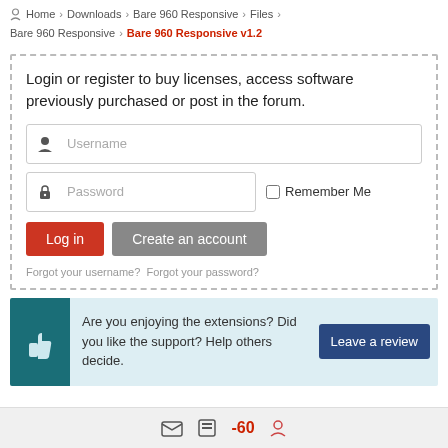Home > Downloads > Bare 960 Responsive > Files > Bare 960 Responsive > Bare 960 Responsive v1.2
Login or register to buy licenses, access software previously purchased or post in the forum.
[Figure (screenshot): Login form with username field, password field, Remember Me checkbox, Log in button, Create an account button, and forgot username/password links]
[Figure (infographic): Review banner with thumbs up icon, text 'Are you enjoying the extensions? Did you like the support? Help others decide.' and a 'Leave a review' button]
[Figure (other): Footer bar with icons]